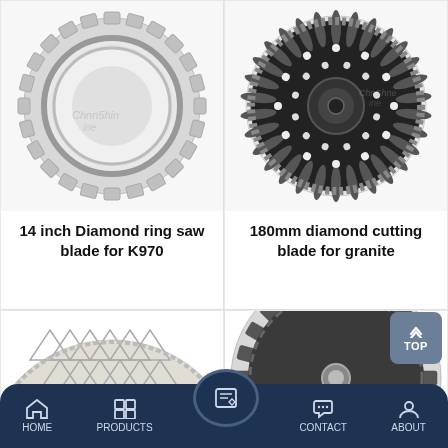[Figure (photo): 14 inch diamond ring saw blade for K970 - circular blade with segmented rim]
14 inch Diamond ring saw blade for K970
[Figure (photo): 180mm diamond cutting blade for granite - black turbo cup wheel with holes]
180mm diamond cutting blade for granite
[Figure (photo): Diamond cutting disc with triangular pattern segments, partially visible]
[Figure (photo): Diamond saw blade with turbo segments, partially visible]
HOME   PRODUCTS   CONTACT   ABOUT